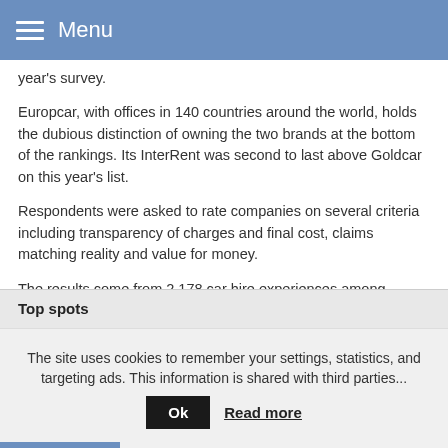Menu
year's survey.
Europcar, with offices in 140 countries around the world, holds the dubious distinction of owning the two brands at the bottom of the rankings. Its InterRent was second to last above Goldcar on this year's list.
Respondents were asked to rate companies on several criteria including transparency of charges and final cost, claims matching reality and value for money.
The results come from 2,178 car hire experiences among Which? members from the 12 months prior to January 2019 when they were surveyed.
Top spots
The site uses cookies to remember your settings, statistics, and targeting ads. This information is shared with third parties...
Ok  Read more